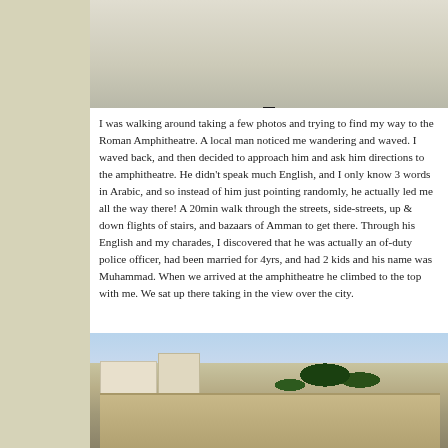[Figure (photo): Partial view of a person's legs and feet walking on a snowy or white stone surface, viewed from above]
I was walking around taking a few photos and trying to find my way to the Roman Amphitheatre. A local man noticed me wandering and waved. I waved back, and then decided to approach him and ask him directions to the amphitheatre. He didn't speak much English, and I only know 3 words in Arabic, and so instead of him just pointing randomly, he actually led me all the way there! A 20min walk through the streets, side-streets, up & down flights of stairs, and bazaars of Amman to get there. Through his English and my charades, I discovered that he was actually an of-duty police officer, had been married for 4yrs, and had 2 kids and his name was Muhammad. When we arrived at the amphitheatre he climbed to the top with me. We sat up there taking in the view over the city.
[Figure (photo): Panoramic view of the Roman Amphitheatre in Amman, Jordan, with ancient stone ruins, surrounding buildings, and cypress trees on hilltop against a blue sky]